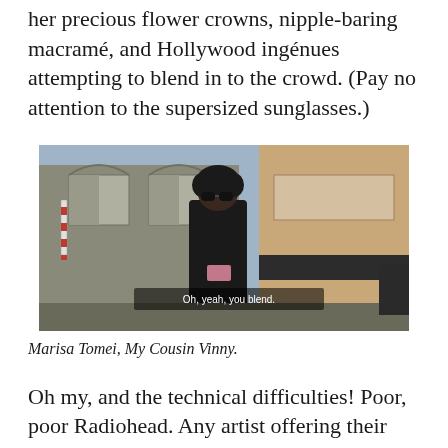her precious flower crowns, nipple-baring macramé, and Hollywood ingénues attempting to blend in to the crowd. (Pay no attention to the supersized sunglasses.)
[Figure (photo): Film still showing a person in black leather jacket and large sunglasses standing on a street in front of buildings, with subtitle text reading 'Oh, yeah, you blend.']
Marisa Tomei, My Cousin Vinny.
Oh my, and the technical difficulties! Poor, poor Radiohead. Any artist offering their music for